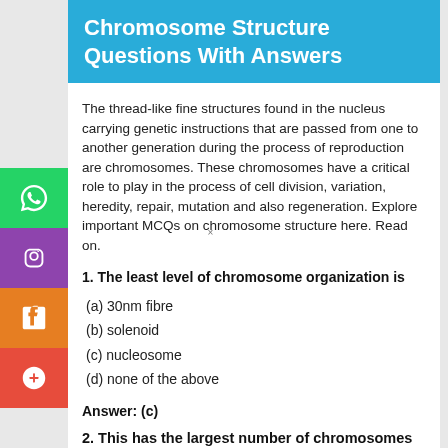Chromosome Structure Questions With Answers
The thread-like fine structures found in the nucleus carrying genetic instructions that are passed from one to another generation during the process of reproduction are chromosomes. These chromosomes have a critical role to play in the process of cell division, variation, heredity, repair, mutation and also regeneration. Explore important MCQs on chromosome structure here. Read on.
1. The least level of chromosome organization is
(a) 30nm fibre
(b) solenoid
(c) nucleosome
(d) none of the above
Answer: (c)
2. This has the largest number of chromosomes